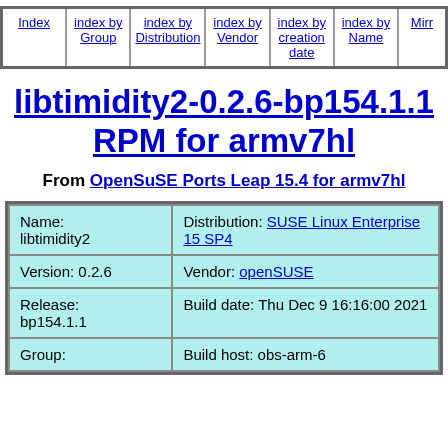| Nav link 1 | Nav link 2 | Nav link 3 | Nav link 4 | Nav link 5 | Nav link 6 | Nav link 7 |
| --- | --- | --- | --- | --- | --- | --- |
| Index | index by Group | index by Distribution | index by Vendor | index by creation date | index by Name | Mirr... |
libtimidity2-0.2.6-bp154.1.1 RPM for armv7hl
From OpenSuSE Ports Leap 15.4 for armv7hl
| Property | Value |
| --- | --- |
| Name: libtimidity2 | Distribution: SUSE Linux Enterprise 15 SP4 |
| Version: 0.2.6 | Vendor: openSUSE |
| Release: bp154.1.1 | Build date: Thu Dec 9 16:16:00 2021 |
| Group: | Build host: obs-arm-6 |